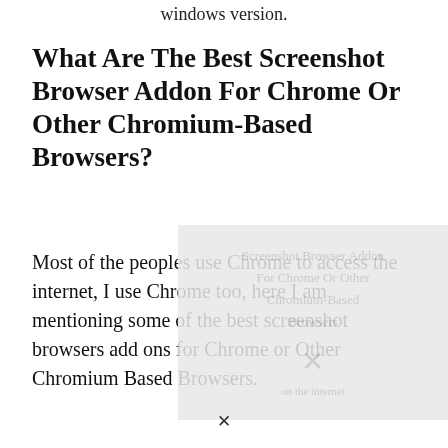windows version.
What Are The Best Screenshot Browser Addon For Chrome Or Other Chromium-Based Browsers?
Most of the peoples use Chrome to access the internet, I use Chrome too, here I am mentioning some of the best screenshot browsers add ons for Chrome or Other Chromium Based Browsers.
[Figure (other): Watermark/advertisement overlay image with gray background and an X mark at the bottom center]